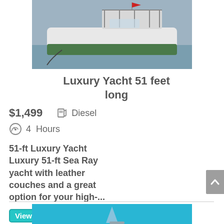[Figure (photo): Aerial/side view of a large luxury yacht with green hull and flybridge, moored on blue-grey water.]
Luxury Yacht 51 feet long
$1,499   Diesel
4  Hours
51-ft Luxury Yacht Luxury 51-ft Sea Ray yacht with leather couches and a great option for your high-...
View
[Figure (photo): Partial view of a sailboat on bright blue water, bottom of page.]